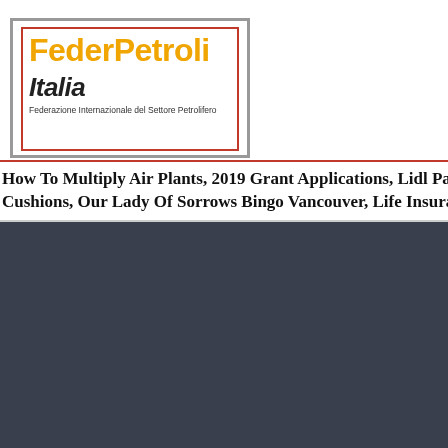[Figure (logo): FederPetroli Italia logo — orange bold text 'FederPetroli' with italic black 'Italia', inside a double border (gray outer, red inner). Subtitle: 'Federazione Internazionale del Settore Petrolifero']
chi siamo    settori
How To Multiply Air Plants, 2019 Grant Applications, Lidl Park Cushions, Our Lady Of Sorrows Bingo Vancouver, Life Insurance …
Federazione Internazional…
Ab…
inf…